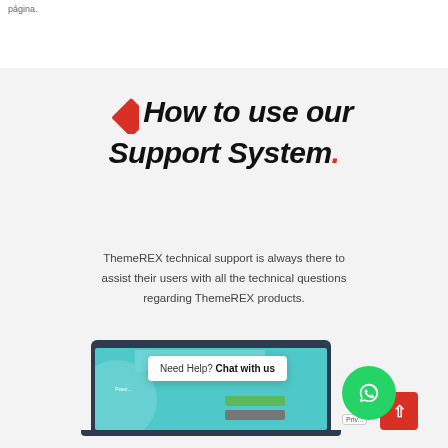página
How to use our Support System.
ThemeREX technical support is always there to assist their users with all the technical questions regarding ThemeREX products.
[Figure (screenshot): Screenshot of ThemeREX support system website displayed inside a laptop frame, with a chat popup saying 'Need Help? Chat with us', a WhatsApp button, and a red scroll-to-top button.]